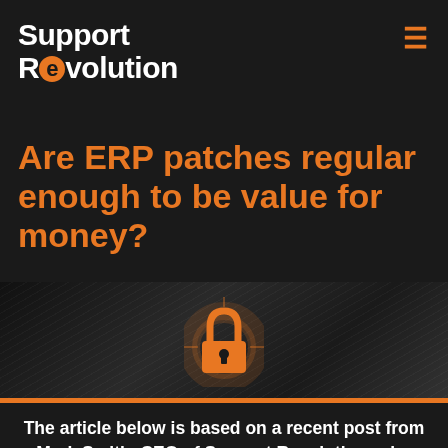Support Revolution
Are ERP patches regular enough to be value for money?
[Figure (photo): Black and white photo of a laptop with a glowing orange padlock hologram, representing cybersecurity]
The article below is based on a recent post from Mark Smith, CEO of Support Revolution, who